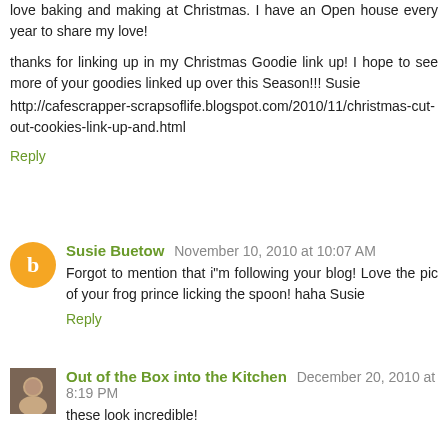love baking and making at Christmas. I have an Open house every year to share my love!
thanks for linking up in my Christmas Goodie link up! I hope to see more of your goodies linked up over this Season!!! Susie http://cafescrapper-scrapsoflife.blogspot.com/2010/11/christmas-cut-out-cookies-link-up-and.html
Reply
Susie Buetow November 10, 2010 at 10:07 AM
Forgot to mention that i"m following your blog! Love the pic of your frog prince licking the spoon! haha Susie
Reply
Out of the Box into the Kitchen December 20, 2010 at 8:19 PM
these look incredible!